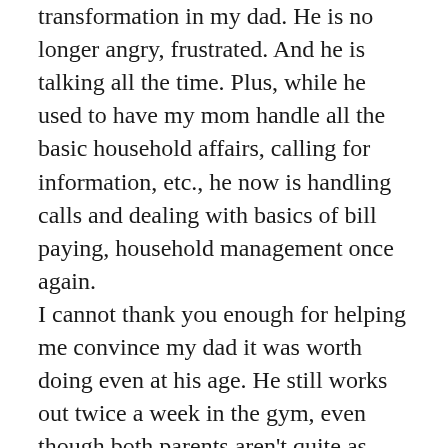transformation in my dad. He is no longer angry, frustrated. And he is talking all the time. Plus, while he used to have my mom handle all the basic household affairs, calling for information, etc., he now is handling calls and dealing with basics of bill paying, household management once again. I cannot thank you enough for helping me convince my dad it was worth doing even at his age. He still works out twice a week in the gym, even though both parents aren't quite as active as they used to be. And he is now feeling part of society once again. He has a training session coming up, thanks to your recommendation on March 8th.